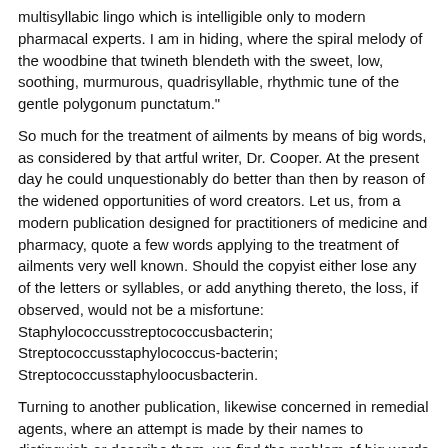multisyllabic lingo which is intelligible only to modern pharmacal experts. I am in hiding, where the spiral melody of the woodbine that twineth blendeth with the sweet, low, soothing, murmurous, quadrisyllable, rhythmic tune of the gentle polygonum punctatum."
So much for the treatment of ailments by means of big words, as considered by that artful writer, Dr. Cooper. At the present day he could unquestionably do better than then by reason of the widened opportunities of word creators. Let us, from a modern publication designed for practitioners of medicine and pharmacy, quote a few words applying to the treatment of ailments very well known. Should the copyist either lose any of the letters or syllables, or add anything thereto, the loss, if observed, would not be a misfortune: Staphylococcusstreptococcusbacterin; Streptococcusstaphylococcus-bacterin; Streptococcusstaphyloocusbacterin.
Turning to another publication, likewise concerned in remedial agents, where an attempt is made by their names to distinguish or describe them, we find the problem of big words again confronting us. For example, we may quote (provided the copyist neither adds to nor takes from the original passage) an example as follows: Staphylostreptobacterin; Staphylostreptoserobacterin.